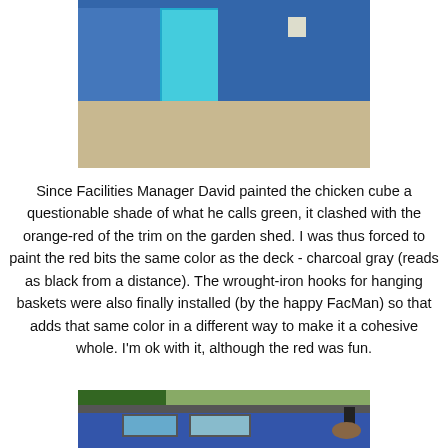[Figure (photo): Exterior photo of a blue building/shed with a teal/turquoise door, concrete or dirt ground with dappled shade, a white bucket visible near the door, photographed from the front.]
Since Facilities Manager David painted the chicken cube a questionable shade of what he calls green, it clashed with the orange-red of the trim on the garden shed. I was thus forced to paint the red bits the same color as the deck - charcoal gray (reads as black from a distance). The wrought-iron hooks for hanging baskets were also finally installed (by the happy FacMan) so that adds that same color in a different way to make it a cohesive whole. I'm ok with it, although the red was fun.
[Figure (photo): Exterior photo of a blue shed/building with a teal window frame, dark roof, wrought-iron hooks with hanging baskets on the right side, trees in the background.]